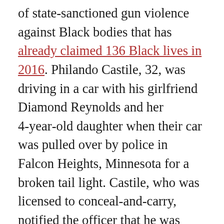of state-sanctioned gun violence against Black bodies that has already claimed 136 Black lives in 2016. Philando Castile, 32, was driving in a car with his girlfriend Diamond Reynolds and her 4-year-old daughter when their car was pulled over by police in Falcon Heights, Minnesota for a broken tail light. Castile, who was licensed to conceal-and-carry, notified the officer that he was armed and that he was reaching for his wallet to retrieve his ID and registration, as per the cop's instructions. He did everything that young Black boys are taught to do in the Talk. The officer fired four shots anyways, killing Castile before his horrified family — all over a burned out light bulb.